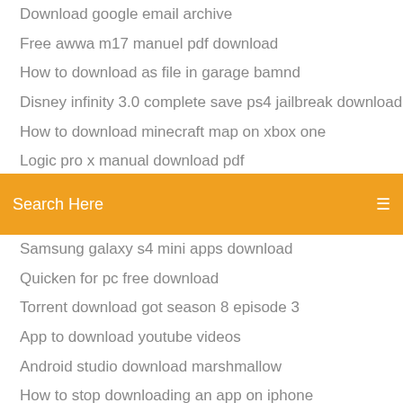Download google email archive
Free awwa m17 manuel pdf download
How to download as file in garage bamnd
Disney infinity 3.0 complete save ps4 jailbreak download
How to download minecraft map on xbox one
Logic pro x manual download pdf
Comic base previous version downloads
[Figure (screenshot): Orange search bar with text 'Search Here' and a menu icon on the right]
Samsung galaxy s4 mini apps download
Quicken for pc free download
Torrent download got season 8 episode 3
App to download youtube videos
Android studio download marshmallow
How to stop downloading an app on iphone
Music book deluxw torrent download f9a
Netgear wifi usb adapter driver download
Uber app download for computer
Couples sex game to buy and download apk